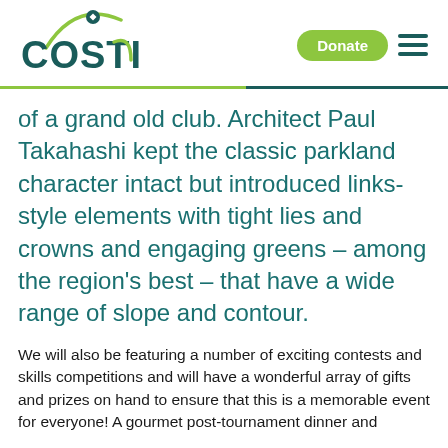COSTI [logo] | Donate | Menu
of a grand old club. Architect Paul Takahashi kept the classic parkland character intact but introduced links-style elements with tight lies and crowns and engaging greens – among the region's best – that have a wide range of slope and contour.
We will also be featuring a number of exciting contests and skills competitions and will have a wonderful array of gifts and prizes on hand to ensure that this is a memorable event for everyone! A gourmet post-tournament dinner and